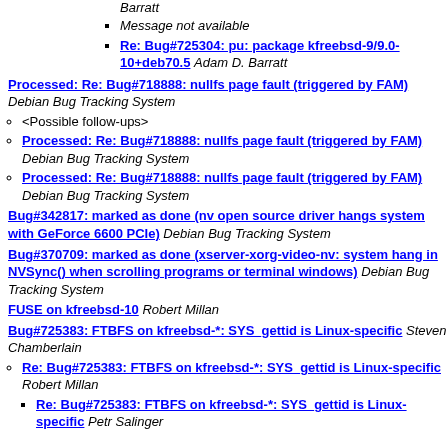Barratt
Message not available
Re: Bug#725304: pu: package kfreebsd-9/9.0-10+deb70.5 Adam D. Barratt
Processed: Re: Bug#718888: nullfs page fault (triggered by FAM) Debian Bug Tracking System
<Possible follow-ups>
Processed: Re: Bug#718888: nullfs page fault (triggered by FAM) Debian Bug Tracking System
Processed: Re: Bug#718888: nullfs page fault (triggered by FAM) Debian Bug Tracking System
Bug#342817: marked as done (nv open source driver hangs system with GeForce 6600 PCIe) Debian Bug Tracking System
Bug#370709: marked as done (xserver-xorg-video-nv: system hang in NVSync() when scrolling programs or terminal windows) Debian Bug Tracking System
FUSE on kfreebsd-10 Robert Millan
Bug#725383: FTBFS on kfreebsd-*: SYS_gettid is Linux-specific Steven Chamberlain
Re: Bug#725383: FTBFS on kfreebsd-*: SYS_gettid is Linux-specific Robert Millan
Re: Bug#725383: FTBFS on kfreebsd-*: SYS_gettid is Linux-specific Petr Salinger